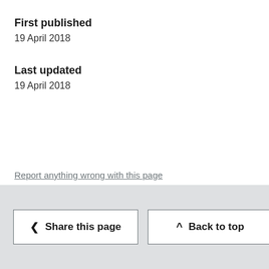First published
19 April 2018
Last updated
19 April 2018
Report anything wrong with this page
Share this page   Back to top